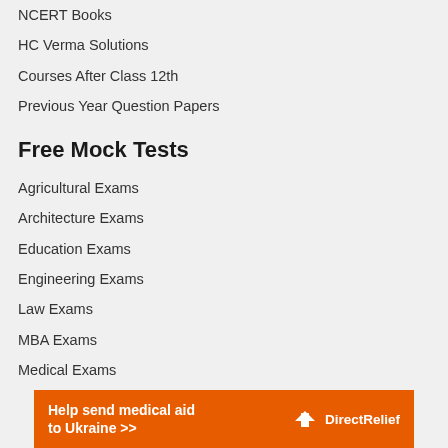NCERT Books
HC Verma Solutions
Courses After Class 12th
Previous Year Question Papers
Free Mock Tests
Agricultural Exams
Architecture Exams
Education Exams
Engineering Exams
Law Exams
MBA Exams
Medical Exams
Pharmacy Exams
Science Exams
More Mock Tests
[Figure (infographic): Orange advertisement banner: 'Help send medical aid to Ukraine >>' with DirectRelief logo on the right]